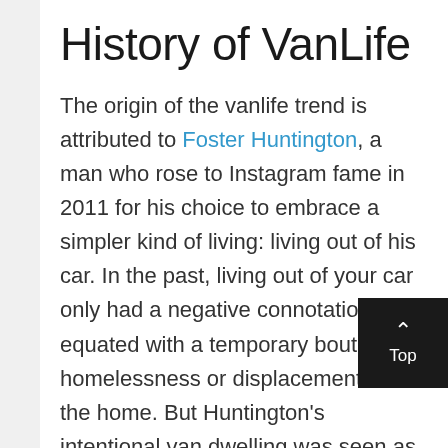History of VanLife
The origin of the vanlife trend is attributed to Foster Huntington, a man who rose to Instagram fame in 2011 for his choice to embrace a simpler kind of living: living out of his car. In the past, living out of your car only had a negative connotation, equated with a temporary bout of homelessness or displacement from the home. But Huntington's intentional van dwelling was seen as inspirational, representing the